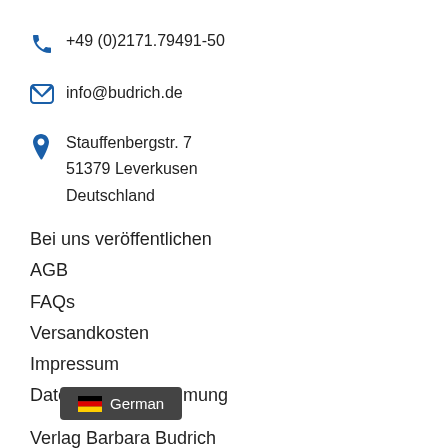+49 (0)2171.79491-50
info@budrich.de
Stauffenbergstr. 7
51379 Leverkusen
Deutschland
Bei uns veröffentlichen
AGB
FAQs
Versandkosten
Impressum
Datenschutzbestimmung
Verlag Barbara Budrich
Bu[...] Press
De[...]
[Figure (screenshot): Language selector overlay showing German flag and text 'German' on dark background]